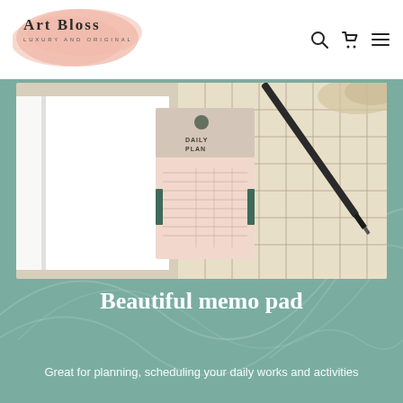[Figure (logo): Art Bloss logo with peach blob background, brand name in serif font, tagline 'LUXURY AND ORIGINAL']
[Figure (other): Navigation icons: search (magnifying glass), cart (shopping bag), and hamburger menu]
[Figure (photo): Product photo showing a daily planner memo pad, open notebook pages, and a black pen on a grid-patterned surface]
Beautiful memo pad
Great for planning, scheduling your daily works and activities